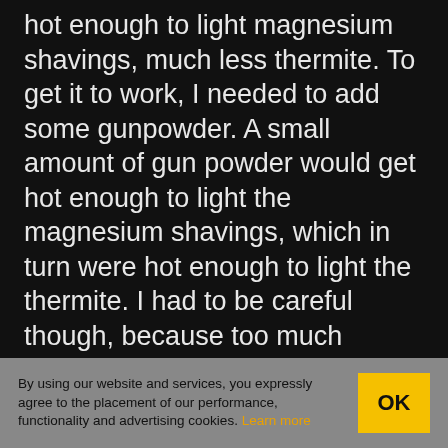hot enough to light magnesium shavings, much less thermite. To get it to work, I needed to add some gunpowder. A small amount of gun powder would get hot enough to light the magnesium shavings, which in turn were hot enough to light the thermite. I had to be careful though, because too much gunpowder would cause a rapid expansion, blowing the thermite everywhere instead of lighting it. You can actually see some red thermite being blown out of the external hard drive and the laptop as the gunpowder ignites.
By using our website and services, you expressly agree to the placement of our performance, functionality and advertising cookies. Learn more